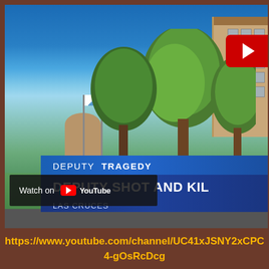[Figure (screenshot): YouTube video thumbnail showing a news broadcast still. A government building with trees, flagpoles, and lawn is visible under a clear blue sky. A red YouTube play button appears in the upper right. News lower-thirds read 'DEPUTY TRAGEDY' and 'DEPUTY SHOT AND KIL' with 'LAS CRUCES' below. A 'Watch on YouTube' badge appears at lower left of the video frame.]
https://www.youtube.com/channel/UC41xJSNY2xCPC4-gOsRcDcg